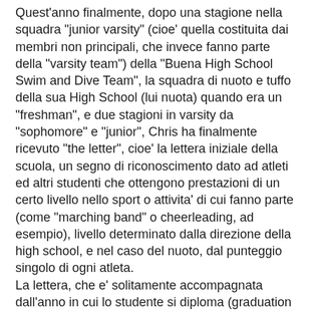Quest'anno finalmente, dopo una stagione nella squadra "junior varsity" (cioe' quella costituita dai membri non principali, che invece fanno parte della "varsity team") della "Buena High School Swim and Dive Team", la squadra di nuoto e tuffo della sua High School (lui nuota) quando era un "freshman", e due stagioni in varsity da "sophomore" e "junior", Chris ha finalmente ricevuto "the letter", cioe' la lettera iniziale della scuola, un segno di riconoscimento dato ad atleti ed altri studenti che ottengono prestazioni di un certo livello nello sport o attivita' di cui fanno parte (come "marching band" o cheerleading, ad esempio), livello determinato dalla direzione della high school, e nel caso del nuoto, dal punteggio singolo di ogni atleta. La lettera, che e' solitamente accompagnata dall'anno in cui lo studente si diploma (graduation year), diventa un innegabile segno di riconoscimento nel momento in cui viene attaccata alla "letterman jacket", la giacca con i colori della scuola.
Ricevere "the letter" e' la realizzazione del sogno di molti studenti e atleti in High School, indossare una letterman jacket e' un onore, il simbolo del proprio lavoro e perseveranza... ma non per mio figlio, no, e Chris...